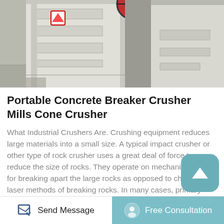[Figure (photo): Photograph of a portable concrete breaker crusher mill / jaw crusher machine in white metal, showing the mechanical frame and components on a concrete floor.]
Portable Concrete Breaker Crusher Mills Cone Crusher
What Industrial Crushers Are. Crushing equipment reduces large materials into a small size. A typical impact crusher or other type of rock crusher uses a great deal of force to reduce the size of rocks. They operate on mechanical force for breaking apart the large rocks as opposed to chemical or laser methods of breaking rocks. In many cases, primary crushers are a part of a.1. Product Application of New design portable clinker concrete crushers with wheels. Jaw
Send Message   Free Consultation